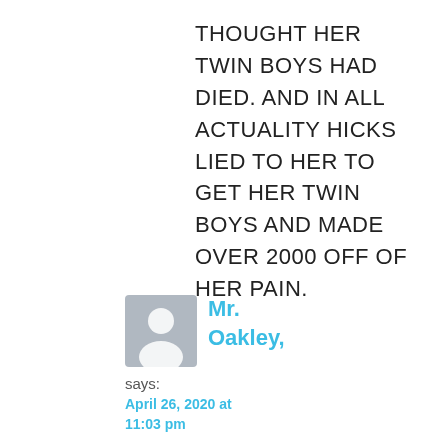THOUGHT HER TWIN BOYS HAD DIED. AND IN ALL ACTUALITY HICKS LIED TO HER TO GET HER TWIN BOYS AND MADE OVER 2000 OFF OF HER PAIN.
[Figure (illustration): Generic grey user avatar placeholder icon]
Mr. Oakley,
says:
April 26, 2020 at 11:03 pm